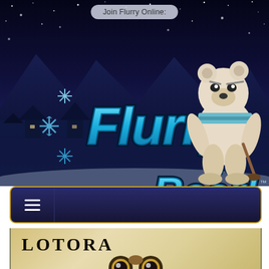[Figure (screenshot): Flurry the Bear game/website screenshot showing a winter night scene with blue background, snowflakes, the 'Flurry the Bear' logo in blue graffiti-style lettering, a white bear mascot character, a navigation bar with hamburger menu, and a parchment-colored section showing the word 'Lotora' and a peeking character at the bottom.]
Join Flurry Online:
Flurry the Bear
Lotora